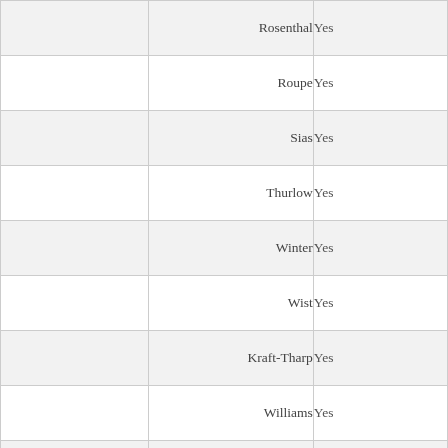|  | Name | Vote |
| --- | --- | --- |
|  | Rosenthal | Yes |
|  | Roupe | Yes |
|  | Sias | Yes |
|  | Thurlow | Yes |
|  | Winter | Yes |
|  | Wist | Yes |
|  | Kraft-Tharp | Yes |
|  | Williams | Yes |
|  |  |  |
Final YES: 13 NO: 0 EXC: 0 ABS: 0 FINAL ACTION: PASS